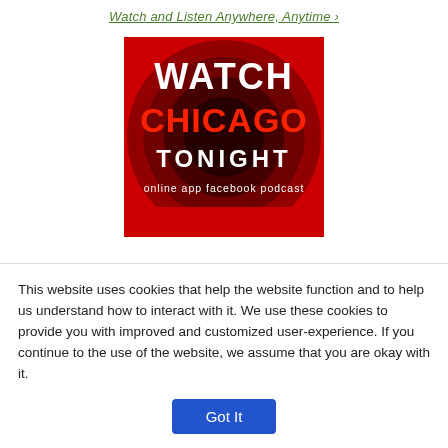Watch and Listen Anywhere, Anytime ›
[Figure (illustration): Watch Chicago Tonight promotional image with red background, dark circular swirl pattern, white text 'WATCH' at top, red bold text 'CHICAGO' in middle, white text 'TONIGHT' below, and white text 'online  app  facebook  podcast' at bottom]
This website uses cookies that help the website function and to help us understand how to interact with it. We use these cookies to provide you with improved and customized user-experience. If you continue to the use of the website, we assume that you are okay with it.
Got It